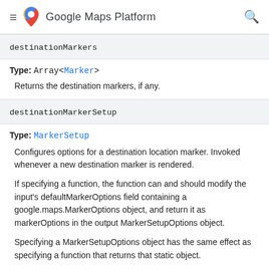Google Maps Platform
destinationMarkers
Type: Array<Marker>
Returns the destination markers, if any.
destinationMarkerSetup
Type: MarkerSetup
Configures options for a destination location marker. Invoked whenever a new destination marker is rendered.
If specifying a function, the function can and should modify the input's defaultMarkerOptions field containing a google.maps.MarkerOptions object, and return it as markerOptions in the output MarkerSetupOptions object.
Specifying a MarkerSetupOptions object has the same effect as specifying a function that returns that static object.
Do not reuse the same MarkerSetupOptions object in different